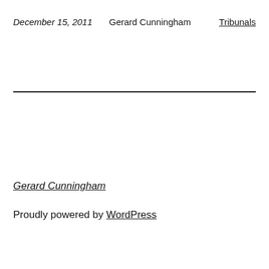December 15, 2011    Gerard Cunningham    Tribunals
Gerard Cunningham
Proudly powered by WordPress